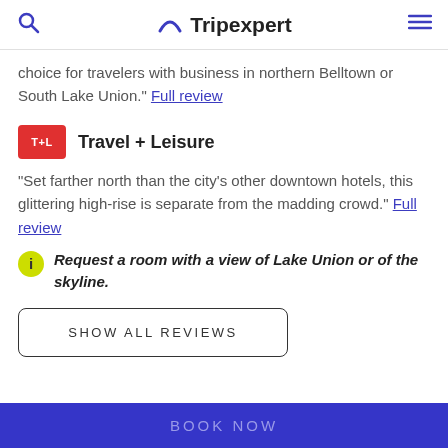Tripexpert
choice for travelers with business in northern Belltown or South Lake Union." Full review
Travel + Leisure
"Set farther north than the city's other downtown hotels, this glittering high-rise is separate from the madding crowd." Full review
Request a room with a view of Lake Union or of the skyline.
SHOW ALL REVIEWS
BOOK NOW